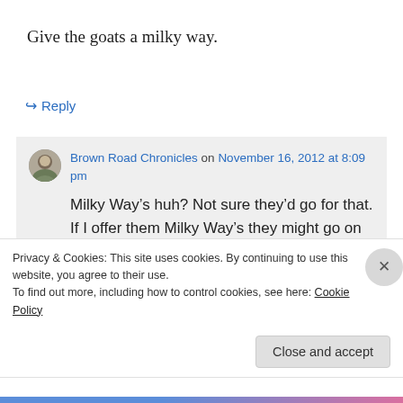Give the goats a milky way.
↪ Reply
Brown Road Chronicles on November 16, 2012 at 8:09 pm
Milky Way’s huh? Not sure they’d go for that. If I offer them Milky Way’s they might go on strike!
Privacy & Cookies: This site uses cookies. By continuing to use this website, you agree to their use.
To find out more, including how to control cookies, see here: Cookie Policy